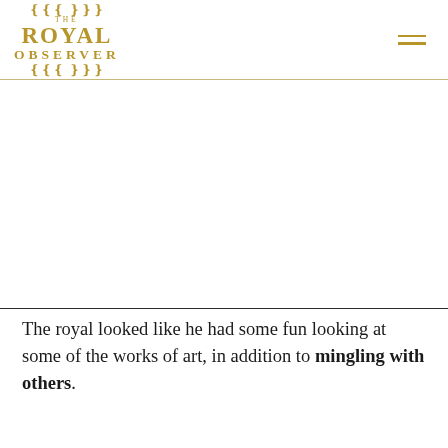THE ROYAL OBSERVER
[Figure (photo): Large image area below the header, white/empty in this view]
The royal looked like he had some fun looking at some of the works of art, in addition to mingling with others.